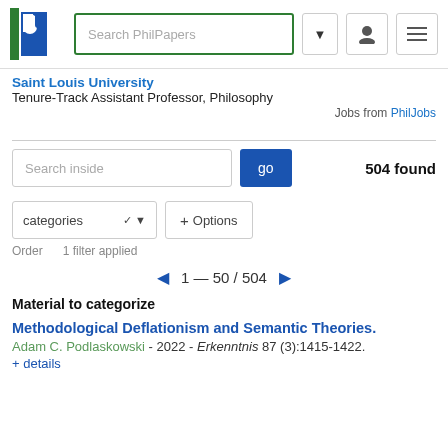[Figure (logo): PhilPapers logo with blue P and green stripe, with Search PhilPapers input box, dropdown arrow, user icon, and menu icon]
Saint Louis University
Tenure-Track Assistant Professor, Philosophy
Jobs from PhilJobs
504 found
Search inside   go
categories   + Options
Order   1 filter applied
◀ 1 — 50 / 504 ▶
Material to categorize
Methodological Deflationism and Semantic Theories.
Adam C. Podlaskowski - 2022 - Erkenntnis 87 (3):1415-1422.
+ details